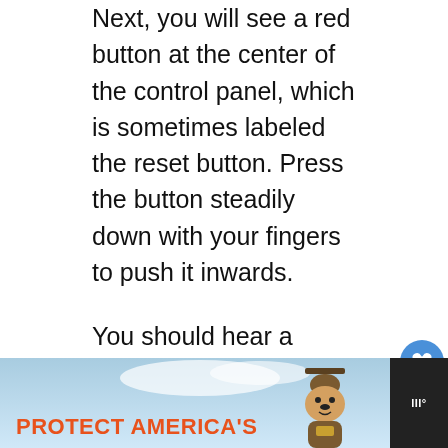Next, you will see a red button at the center of the control panel, which is sometimes labeled the reset button. Press the button steadily down with your fingers to push it inwards.
You should hear a clicking sound to indicate it has successfully been reset. If you don't hear this sound, or it pops out again, then you need to inspect the heater for nicks in the wires or loose wire nuts. If there is no problem with the wiring, the problem might be in the controller, and if so, replace it.
It's good to note that heaters are different, and some may not produce a clicking sound when reset. In such a situation, go ahead and reassemble and
[Figure (screenshot): Advertisement banner at bottom: dark background with a Smokey Bear 'Protect America's' forest fire prevention ad]